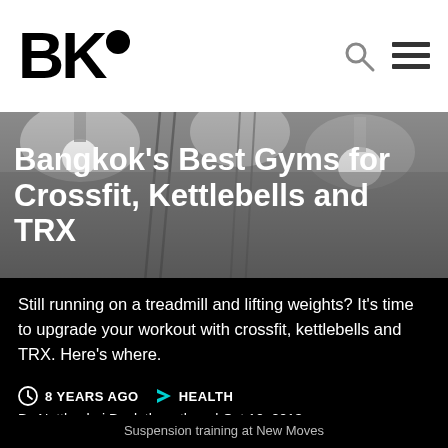BK•
[Figure (photo): Gym interior with suspension training equipment, grayscale photo with overhead lights]
Bangkok's Best Gyms for Crossfit, Kettlebells and TRX
Still running on a treadmill and lifting weights? It's time to upgrade your workout with crossfit, kettlebells and TRX. Here's where.
8 YEARS AGO  HEALTH
By Nutthachai Bunluthangthum | Oct 10, 2013
Suspension training at New Moves